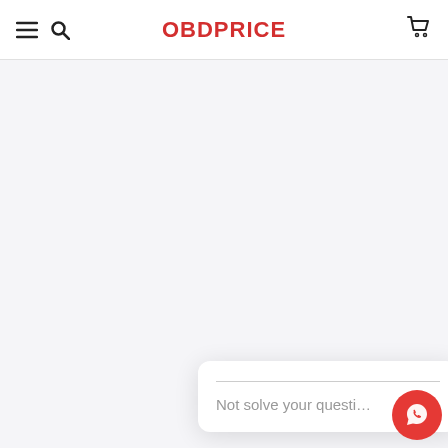OBDPRICE
[Figure (screenshot): Light gray/lavender main content area below the header, mostly empty]
[Figure (screenshot): White chat widget card with a horizontal divider line and placeholder text 'Not solve your questi...']
[Figure (illustration): Red circular WhatsApp button with white speech bubble phone icon in bottom right]